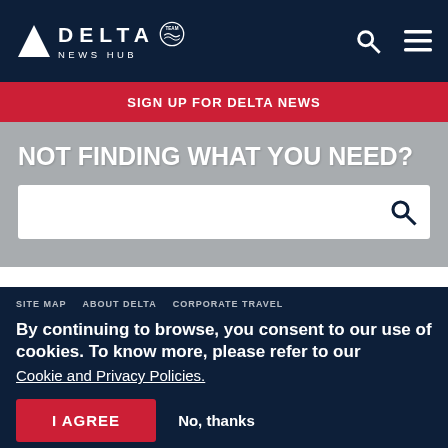DELTA NEWS HUB
SIGN UP FOR DELTA NEWS
NOT FINDING WHAT YOU NEED?
SITE MAP   ABOUT DELTA   CORPORATE TRAVEL
By continuing to browse, you consent to our use of cookies. To know more, please refer to our Cookie and Privacy Policies.
I AGREE   No, thanks